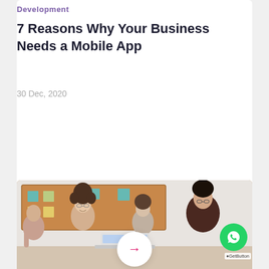Development
7 Reasons Why Your Business Needs a Mobile App
30 Dec, 2020
[Figure (photo): Group of four business professionals gathered around a laptop, smiling and collaborating in an office setting with a cork board in the background]
[Figure (logo): WhatsApp contact button (green circle with phone handset icon) with GetButton.io label]